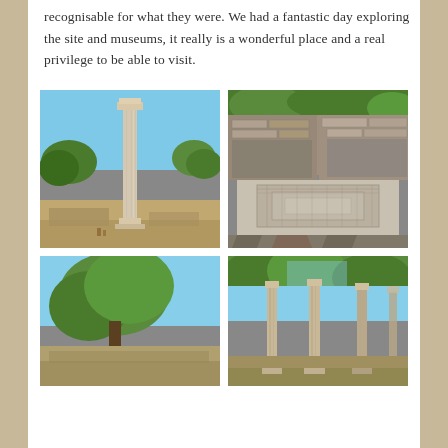recognisable for what they were. We had a fantastic day exploring the site and museums, it really is a wonderful place and a real privilege to be able to visit.
[Figure (photo): A tall ancient Greek column standing alone against a blue sky with trees and ruins in the background at an archaeological site.]
[Figure (photo): Ancient ruins with stone walls and a decorative mosaic or tiled floor pattern visible, with trees in the background.]
[Figure (photo): Partial view of an ancient site with blue sky and green trees, possibly showing ruins at the bottom of the frame.]
[Figure (photo): Three ancient columns standing at an archaeological site with trees and blue sky in the background.]